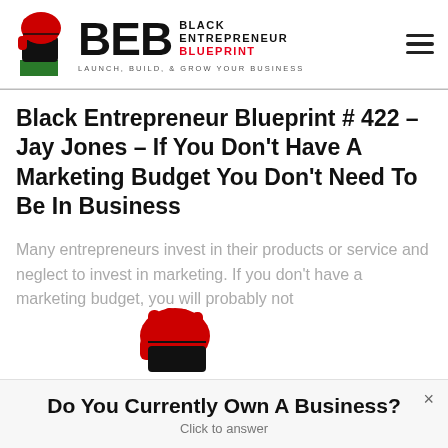[Figure (logo): Black Entrepreneur Blueprint logo with raised fist icon, BEB letters, and tagline LAUNCH, BUILD, & GROW YOUR BUSINESS]
Black Entrepreneur Blueprint # 422 – Jay Jones – If You Don't Have A Marketing Budget You Don't Need To Be In Business
Many entrepreneurs invest in their products or service and neglect to invest in marketing. If you don't have a marketing budget, you will probably not
[Figure (logo): Partial Black Entrepreneur Blueprint raised fist logo visible at bottom of page]
Do You Currently Own A Business?
Click to answer